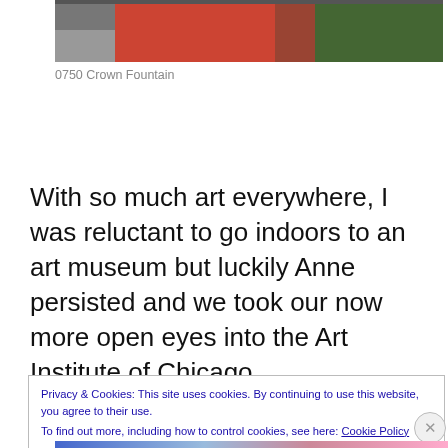[Figure (photo): Partial photo showing outdoor scene with red structure and green foliage, cropped at top]
0750 Crown Fountain
With so much art everywhere, I was reluctant to go indoors to an art museum but luckily Anne persisted and we took our now more open eyes into the Art Institute of Chicago.
Privacy & Cookies: This site uses cookies. By continuing to use this website, you agree to their use.
To find out more, including how to control cookies, see here: Cookie Policy